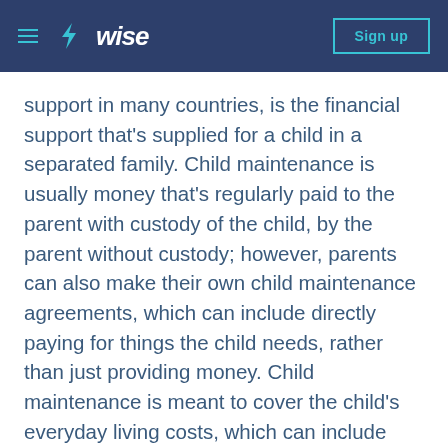Wise — Sign up
support in many countries, is the financial support that's supplied for a child in a separated family. Child maintenance is usually money that's regularly paid to the parent with custody of the child, by the parent without custody; however, parents can also make their own child maintenance agreements, which can include directly paying for things the child needs, rather than just providing money. Child maintenance is meant to cover the child's everyday living costs, which can include food, clothes, a place to live and more.